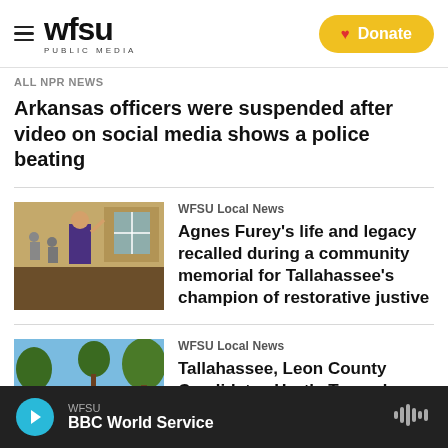wfsu PUBLIC MEDIA | Donate
All NPR News
Arkansas officers were suspended after video on social media shows a police beating
[Figure (photo): Photo of a man in a purple jacket inside a building, pointing toward a window]
WFSU Local News
Agnes Furey’s life and legacy recalled during a community memorial for Tallahassee's champion of restorative justive
[Figure (photo): Outdoor photo of people gathered in a park or grassy area, possibly at a community event]
WFSU Local News
Tallahassee, Leon County Candidates Hurtle Toward Primary Election
WFSU | BBC World Service